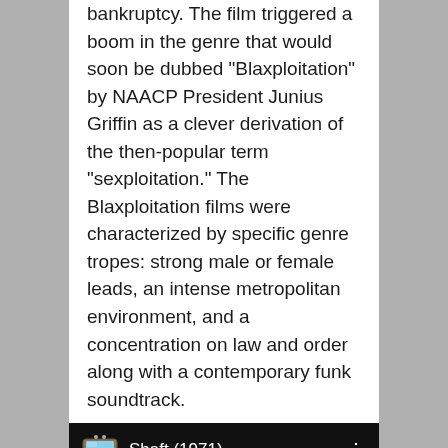bankruptcy. The film triggered a boom in the genre that would soon be dubbed “Blaxploitation” by NAACP President Junius Griffin as a clever derivation of the then-popular term “sexploitation.” The Blaxploitation films were characterized by specific genre tropes: strong male or female leads, an intense metropolitan environment, and a concentration on law and order along with a contemporary funk soundtrack.
[Figure (screenshot): Screenshot of a video player UI showing a YouTube-style interface with a vintage TV icon, title 'Shaft (1971) ...' with three-dot menu, and a blurred video frame below showing dark figures.]